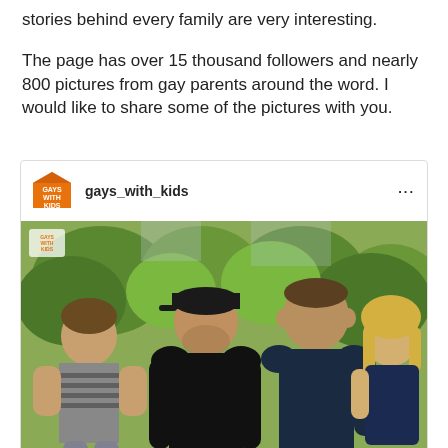stories behind every family are very interesting.

The page has over 15 thousand followers and nearly 800 pictures from gay parents around the word. I would like to share some of the pictures with you.
[Figure (screenshot): Instagram post from account 'gays_with_kids' showing a photo of two men each holding a child, standing outdoors with green trees in the background. The Instagram header shows the 'Gays With Kids' orange logo, the username 'gays_with_kids', and three dots menu icon.]